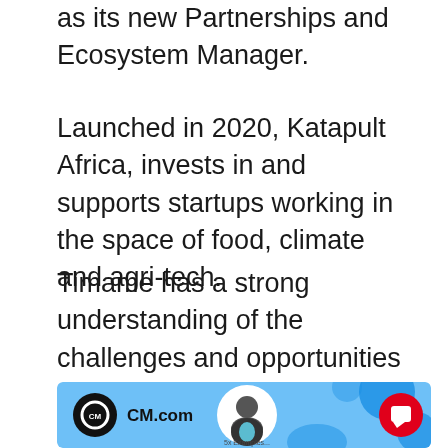as its new Partnerships and Ecosystem Manager.
Launched in 2020, Katapult Africa, invests in and supports startups working in the space of food, climate and agri-tech.
Timame has a strong understanding of the challenges and opportunities that face the African tech scene. Before Katapult Africa, she worked as a startup engagement lead for Liquid Telecom.
[Figure (screenshot): CM.com advertisement banner with logo, a person in a circle, blue background with decorative shapes, and a red chat button. Partially visible text '5x Examples...' at the bottom.]